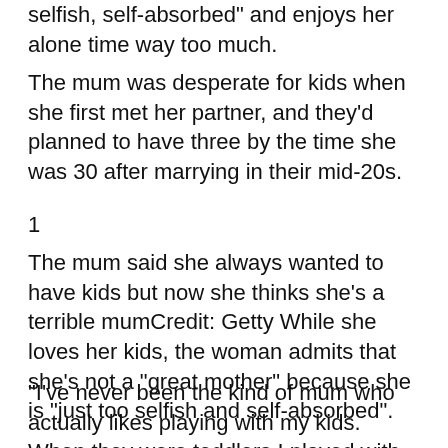selfish, self-absorbed" and enjoys her alone time way too much.
The mum was desperate for kids when she first met her partner, and they'd planned to have three by the time she was 30 after marrying in their mid-20s.
1
The mum said she always wanted to have kids but now she thinks she's a terrible mumCredit: Getty While she loves her kids, the woman admits that she's not a "great mother" because she is "just too selfish and self-absorbed".
"I've never been the kind of mum who actually likes playing with my kids. When they were toddlers I played with them as much as I could but I found myself getting so irritated over the